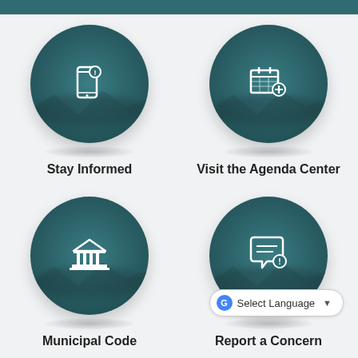[Figure (infographic): Four circular teal icon buttons in a 2x2 grid on a government website: Stay Informed (smartphone with alert icon), Visit the Agenda Center (calendar with plus icon), Municipal Code (courthouse/pillars icon), Report a Concern (speech bubble with alert icon). Each circle has a mountain landscape overlay and drop shadow.]
Stay Informed
Visit the Agenda Center
Municipal Code
Report a Concern
Select Language